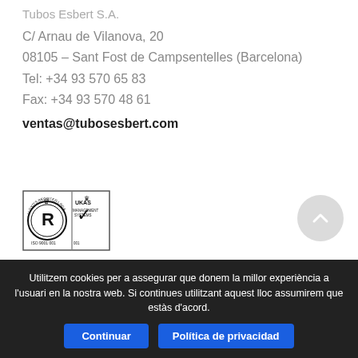Tubos Esbert S.A.
C/ Arnau de Vilanova, 20
08105 – Sant Fost de Campsentelles (Barcelona)
Tel: +34 93 570 65 83
Fax: +34 93 570 48 61
ventas@tubosesbert.com
[Figure (logo): ISO 9001 / UKAS certification badge with Lloyd's Register Quality Assurance logo and UKAS Management Systems mark]
PRIVACY POLICY
Utilitzem cookies per a assegurar que donem la millor experiència a l'usuari en la nostra web. Si continues utilitzant aquest lloc assumirem que estàs d'acord.
Continuar
Política de privacidad